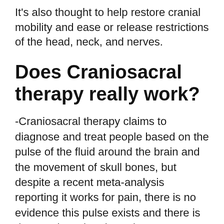It's also thought to help restore cranial mobility and ease or release restrictions of the head, neck, and nerves.
Does Craniosacral therapy really work?
-Craniosacral therapy claims to diagnose and treat people based on the pulse of the fluid around the brain and the movement of skull bones, but despite a recent meta-analysis reporting it works for pain, there is no evidence this pulse exists and there is data to show that therapists can't even agree on the pulse.
How often should you have